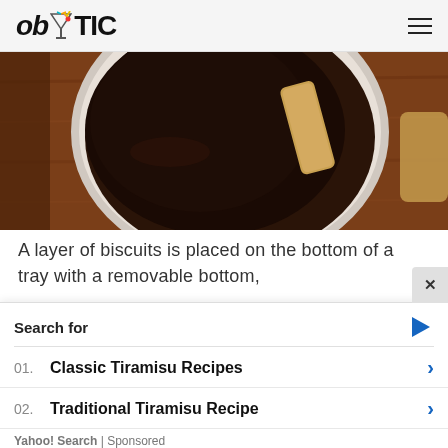ob TIC
[Figure (photo): Overhead view of a white bowl containing dark coffee/chocolate liquid with a biscuit being dipped, on a wooden surface]
A layer of biscuits is placed on the bottom of a tray with a removable bottom,
[Figure (photo): A rectangular baking tray with a removable bottom containing several ladyfinger biscuits, with a dark cup visible to the left, on a wooden surface]
Search for
01. Classic Tiramisu Recipes
02. Traditional Tiramisu Recipe
Yahoo! Search | Sponsored